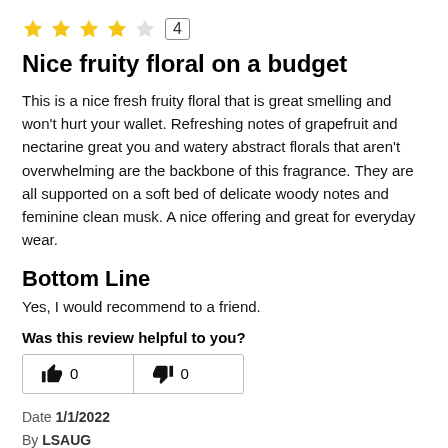[Figure (other): 4 out of 5 stars rating with number 4 in a box]
Nice fruity floral on a budget
This is a nice fresh fruity floral that is great smelling and won't hurt your wallet. Refreshing notes of grapefruit and nectarine great you and watery abstract florals that aren't overwhelming are the backbone of this fragrance. They are all supported on a soft bed of delicate woody notes and feminine clean musk. A nice offering and great for everyday wear.
Bottom Line
Yes, I would recommend to a friend.
Was this review helpful to you?
[Figure (other): Thumbs up button with count 0 and thumbs down button with count 0]
Date 1/1/2022
By LSAUG
From Horseheads NY
[Figure (other): 4 out of 5 stars rating with number 4 in a box]